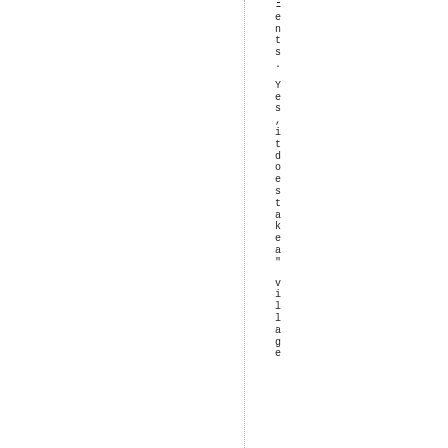ents. Yes, it does take a" village